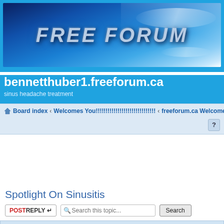[Figure (screenshot): Blue banner with 'FREE FORUM' text in metallic italic style on a blue abstract background]
bennetthuber1.freeforum.ca
sinus headache treatment
Board index ‹ Welcomes You!!!!!!!!!!!!!!!!!!!!!!!!!!!!!! ‹ freeforum.ca Welcomes You
Spotlight On Sinusitis
POSTREPLY  Search this topic...  Search
Spotlight On Sinusitis